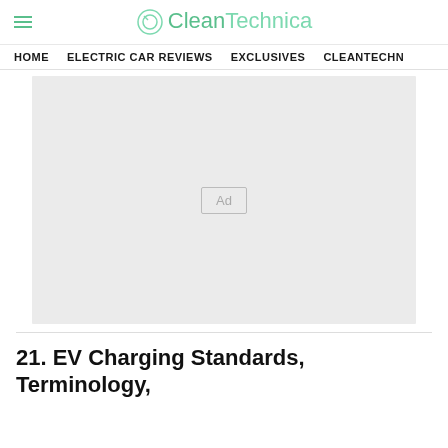CleanTechnica
HOME   ELECTRIC CAR REVIEWS   EXCLUSIVES   CLEANTECHN
[Figure (other): Advertisement placeholder area with 'Ad' label]
21. EV Charging Standards, Terminology,